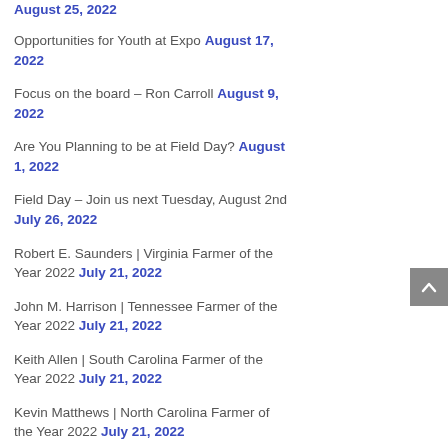August 25, 2022 (clipped top)
Opportunities for Youth at Expo August 17, 2022
Focus on the board – Ron Carroll August 9, 2022
Are You Planning to be at Field Day? August 1, 2022
Field Day – Join us next Tuesday, August 2nd July 26, 2022
Robert E. Saunders | Virginia Farmer of the Year 2022 July 21, 2022
John M. Harrison | Tennessee Farmer of the Year 2022 July 21, 2022
Keith Allen | South Carolina Farmer of the Year 2022 July 21, 2022
Kevin Matthews | North Carolina Farmer of the Year 2022 July 21, 2022